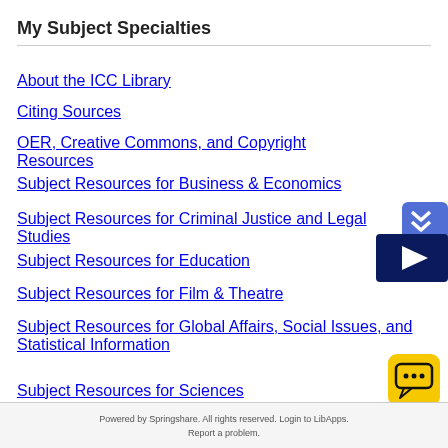My Subject Specialties
About the ICC Library
Citing Sources
OER, Creative Commons, and Copyright Resources
Subject Resources for Business & Economics
Subject Resources for Criminal Justice and Legal Studies
Subject Resources for Education
Subject Resources for Film & Theatre
Subject Resources for Global Affairs, Social Issues, and Statistical Information
Subject Resources for Sciences
[Figure (other): Blue bookmark/scroll icon with up arrows, and a dark navy blue video play button widget]
[Figure (other): Yellow chat widget with speech bubble and ellipsis icon in bottom right corner]
Powered by Springshare.  All rights reserved.  Login to LibApps.  Report a problem.